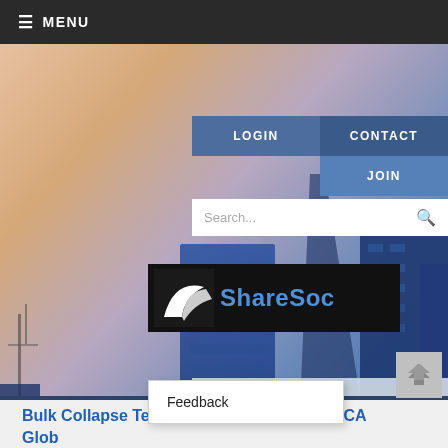≡ MENU
[Figure (screenshot): Website screenshot of ShareSoc financial community site showing navigation with LOGIN, CONTACT, JOIN buttons, search bar, ShareSoc logo on cityscape hero image, breadcrumb Home » Globo, page title Globo, and article title beginning Bulk Collapse Telecom Plus Results and FCA Globo, with a Feedback popup overlay]
Globo
Home » Globo
Bulk Collapse Telecom Plus Results and FCA Globo
Feedback